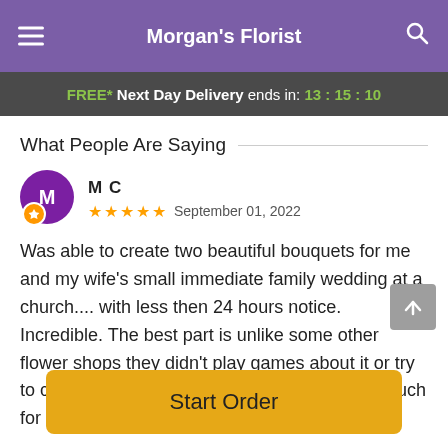Morgan's Florist
FREE* Next Day Delivery ends in: 13:15:10
What People Are Saying
M C  ★★★★★  September 01, 2022
Was able to create two beautiful bouquets for me and my wife's small immediate family wedding at a church.... with less then 24 hours notice. Incredible. The best part is unlike some other flower shops they didn't play games about it or try to charge us consultation fees. Thank you so much for making our day that much more special.
Start Order